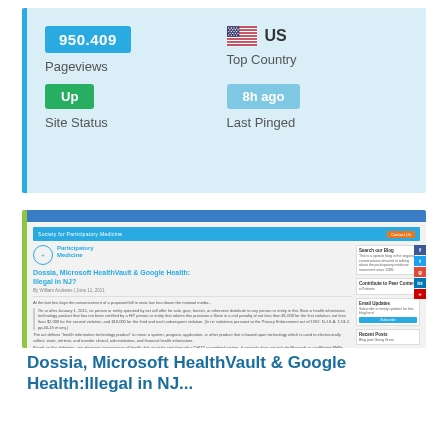[Figure (infographic): Website stats card showing pageviews (950.409), top country (US with flag), site status (Up), and last pinged (8h ago) on light blue background with blue left border]
[Figure (screenshot): Screenshot of Society for Participatory Medicine website showing an article titled 'Dossia, Microsoft HealthVault & Google Health: Illegal in NJ?' with article text and sidebar]
Dossia, Microsoft HealthVault & Google Health:Illegal in NJ...